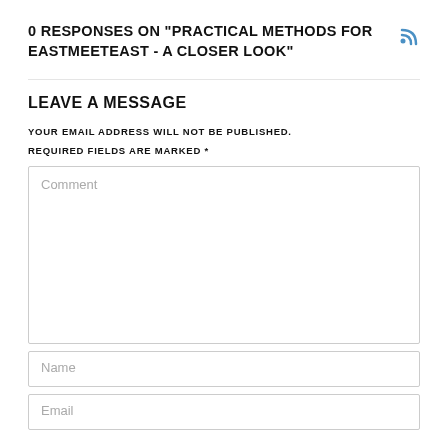0 RESPONSES ON "PRACTICAL METHODS FOR EASTMEETEAST - A CLOSER LOOK"
LEAVE A MESSAGE
YOUR EMAIL ADDRESS WILL NOT BE PUBLISHED.
REQUIRED FIELDS ARE MARKED *
[Figure (screenshot): Comment text area input field with placeholder text 'Comment']
[Figure (screenshot): Name input field with placeholder text 'Name']
[Figure (screenshot): Email input field with placeholder text 'Email']